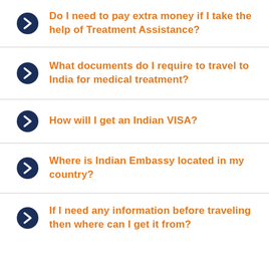Do I need to pay extra money if I take the help of Treatment Assistance?
What documents do I require to travel to India for medical treatment?
How will I get an Indian VISA?
Where is Indian Embassy located in my country?
If I need any information before traveling then where can I get it from?